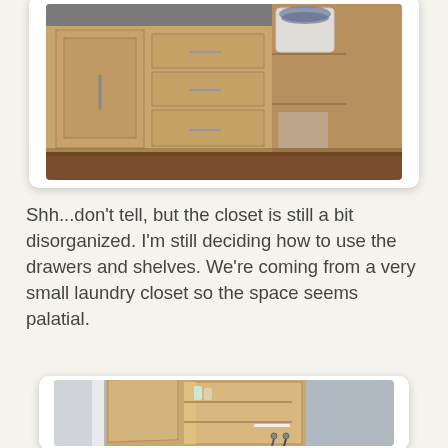[Figure (photo): Photo of wooden laundry room cabinets with silver handles and a gray countertop, with a laundry basket visible on the right side shelving unit, hardwood floor below.]
Shh...don't tell, but the closet is still a bit disorganized. I'm still deciding how to use the drawers and shelves. We're coming from a very small laundry closet so the space seems palatial.
[Figure (photo): Photo of an open wooden cabinet with two doors revealing interior shelves containing cleaning supplies and other items, with hooks at the bottom and a white door frame visible on the left.]